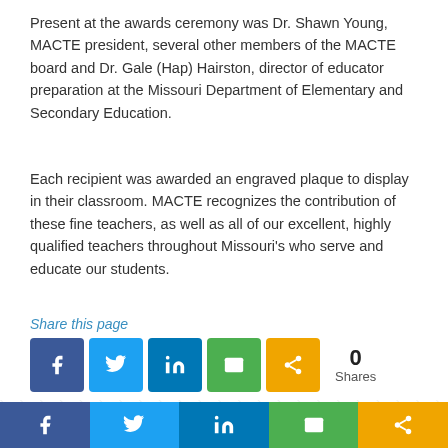Present at the awards ceremony was Dr. Shawn Young, MACTE president, several other members of the MACTE board and Dr. Gale (Hap) Hairston, director of educator preparation at the Missouri Department of Elementary and Secondary Education.
Each recipient was awarded an engraved plaque to display in their classroom. MACTE recognizes the contribution of these fine teachers, as well as all of our excellent, highly qualified teachers throughout Missouri's who serve and educate our students.
Share this page
[Figure (infographic): Social share buttons: Facebook (blue), Twitter (light blue), LinkedIn (dark blue), Email (green), Share (orange). Shows 0 Shares count.]
[Figure (infographic): Bottom navigation bar with social share icons: Facebook, Twitter, LinkedIn, Email, Share — each in their branded colors.]